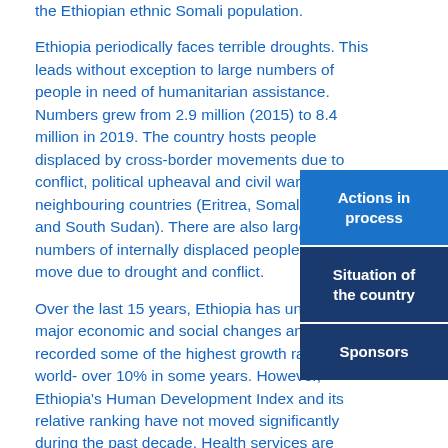the Ethiopian ethnic Somali population.
Ethiopia periodically faces terrible droughts. This leads without exception to large numbers of people in need of humanitarian assistance. Numbers grew from 2.9 million (2015) to 8.4 million in 2019. The country hosts people displaced by cross-border movements due to conflict, political upheaval and civil wars in neighbouring countries (Eritrea, Somalia, Sudan and South Sudan). There are also large numbers of internally displaced people forced to move due to drought and conflict.
Over the last 15 years, Ethiopia has undergone major economic and social changes and has recorded some of the highest growth rates in the world- over 10% in some years. However, Ethiopia's Human Development Index and its relative ranking have not moved significantly during the past decade. Health services are limited, notably those dedicated to people with disabilities. Ethiopia is also one of the Sub-Saharan African countries to most affected by...
Actions in process
Situation of the country
Sponsors